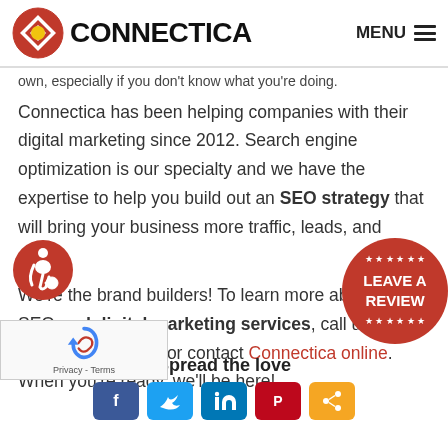CONNECTICA | MENU
own, especially if you don't know what you're doing.
Connectica has been helping companies with their digital marketing since 2012. Search engine optimization is our specialty and we have the expertise to help you build out an SEO strategy that will bring your business more traffic, leads, and sales.
We're the brand builders! To learn more about our SEO and digital marketing services, call us today at 1-877-816-2259 or contact Connectica online. When you're ready, we'll be here!
[Figure (logo): Connectica logo with red/black layered diamond icon and bold CONNECTICA text]
[Figure (illustration): Red circle accessibility icon with person in wheelchair]
[Figure (illustration): Red circular Leave a Review badge with stars]
[Figure (illustration): reCAPTCHA privacy widget]
Spread the love
[Figure (illustration): Social share buttons: Facebook, Twitter, LinkedIn, Pinterest, and one more]